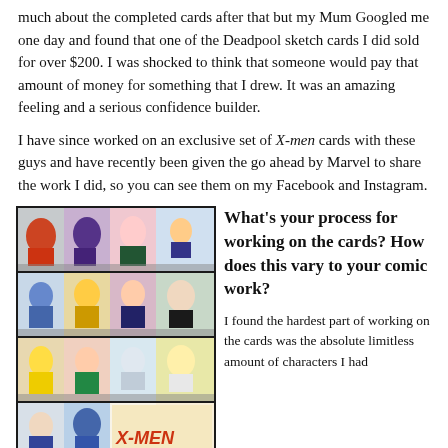much about the completed cards after that but my Mum Googled me one day and found that one of the Deadpool sketch cards I did sold for over $200. I was shocked to think that someone would pay that amount of money for something that I drew. It was an amazing feeling and a serious confidence builder.
I have since worked on an exclusive set of X-men cards with these guys and have recently been given the go ahead by Marvel to share the work I did, so you can see them on my Facebook and Instagram.
[Figure (illustration): Grid of X-Men sketch cards showing various Marvel characters including Magneto, Jean Grey, Wolverine, Rogue, Storm, and others in comic art style. Bottom row shows partial cards with X-Men logo.]
What's your process for working on the cards? How does this vary to your comic work?
I found the hardest part of working on the cards was the absolute limitless amount of characters I had